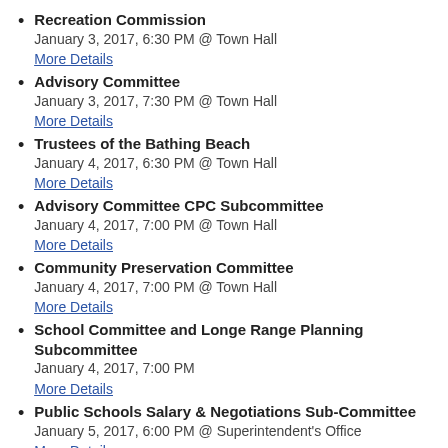Recreation Commission
January 3, 2017, 6:30 PM @ Town Hall
More Details
Advisory Committee
January 3, 2017, 7:30 PM @ Town Hall
More Details
Trustees of the Bathing Beach
January 4, 2017, 6:30 PM @ Town Hall
More Details
Advisory Committee CPC Subcommittee
January 4, 2017, 7:00 PM @ Town Hall
More Details
Community Preservation Committee
January 4, 2017, 7:00 PM @ Town Hall
More Details
School Committee and Longe Range Planning Subcommittee
January 4, 2017, 7:00 PM
More Details
Public Schools Salary & Negotiations Sub-Committee
January 5, 2017, 6:00 PM @ Superintendent's Office
More Details
Advisory Committee CPC Subcommittee
January 5, 2017, 7:00 PM @ Town Hall
More Details
Board of Selectmen
January 5, 2017, 7:00 PM @ Town Hall